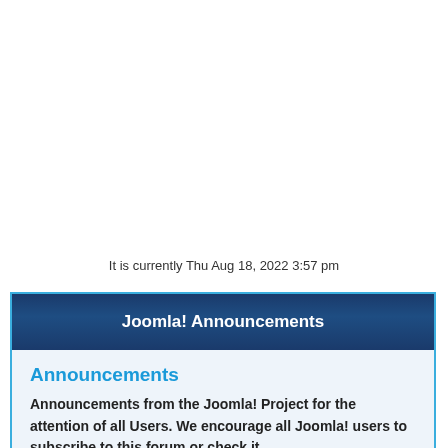It is currently Thu Aug 18, 2022 3:57 pm
Joomla! Announcements
Announcements
Announcements from the Joomla! Project for the attention of all Users. We encourage all Joomla! users to subscribe to this forum or check it